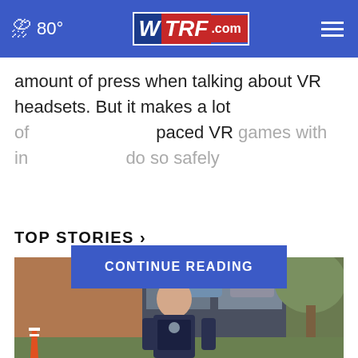80° WTRF.com
amount of press when talking about VR headsets. But it makes a lot of [CONTINUE READING] paced VR games with in[...] do so safely
TOP STORIES ›
[Figure (photo): A police officer in uniform standing outside a brick building near a tree]